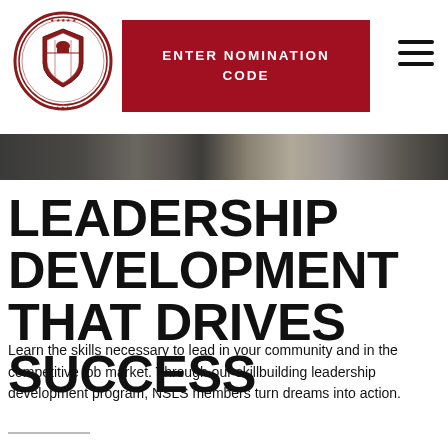[Figure (logo): Circular seal/crest logo for The National Society of Leadership and Success (NSLS) with a shield emblem in the center]
[Figure (other): Red button/banner with text ENTER NOMINATION CODE in white uppercase letters]
[Figure (photo): Cropped hero photo showing people at what appears to be a conference or event, wearing name badges]
LEADERSHIP DEVELOPMENT THAT DRIVES SUCCESS
Learn the skills necessary to lead in your community and in the competitive job market. Through our skillbuilding leadership development program, NSLS members turn dreams into action.